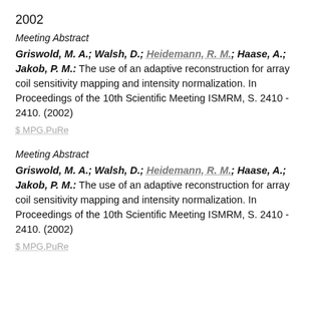2002
Meeting Abstract
Griswold, M. A.; Walsh, D.; Heidemann, R. M.; Haase, A.; Jakob, P. M.: The use of an adaptive reconstruction for array coil sensitivity mapping and intensity normalization. In Proceedings of the 10th Scientific Meeting ISMRM, S. 2410 - 2410. (2002)
⊘ MPG.PuRe
Meeting Abstract
Griswold, M. A.; Walsh, D.; Heidemann, R. M.; Haase, A.; Jakob, P. M.: The use of an adaptive reconstruction for array coil sensitivity mapping and intensity normalization. In Proceedings of the 10th Scientific Meeting ISMRM, S. 2410 - 2410. (2002)
⊘ MPG.PuRe